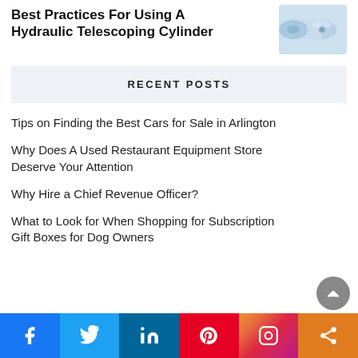Best Practices For Using A Hydraulic Telescoping Cylinder
[Figure (photo): Photo of a hydraulic telescoping cylinder component, light blue/grey metallic cylindrical part]
RECENT POSTS
Tips on Finding the Best Cars for Sale in Arlington
Why Does A Used Restaurant Equipment Store Deserve Your Attention
Why Hire a Chief Revenue Officer?
What to Look for When Shopping for Subscription Gift Boxes for Dog Owners
Social share bar: Facebook, Twitter, LinkedIn, Pinterest, Instagram, Share